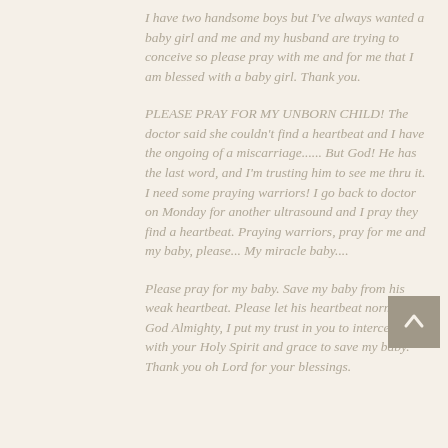I have two handsome boys but I've always wanted a baby girl and me and my husband are trying to conceive so please pray with me and for me that I am blessed with a baby girl. Thank you.
PLEASE PRAY FOR MY UNBORN CHILD! The doctor said she couldn't find a heartbeat and I have the ongoing of a miscarriage...... But God! He has the last word, and I'm trusting him to see me thru it. I need some praying warriors! I go back to doctor on Monday for another ultrasound and I pray they find a heartbeat. Praying warriors, pray for me and my baby, please... My miracle baby....
Please pray for my baby. Save my baby from his weak heartbeat. Please let his heartbeat normalize. God Almighty, I put my trust in you to intercede with your Holy Spirit and grace to save my baby. Thank you oh Lord for your blessings.